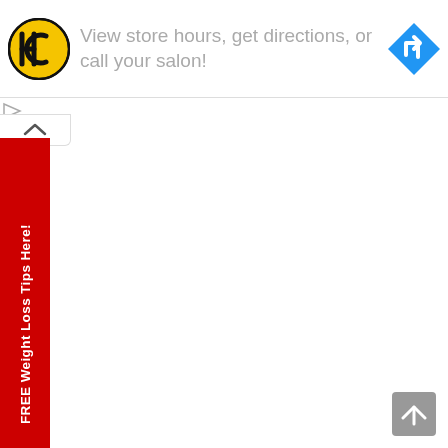[Figure (logo): HC logo — black circle with HC letters on yellow background]
View store hours, get directions, or call your salon!
[Figure (illustration): Blue diamond-shaped navigation/directions icon with white arrow]
[Figure (illustration): Small play triangle icon and X close icon]
[Figure (other): Collapse/expand caret tab handle]
FREE Weight Loss Tips Here!
[Figure (other): Back to top scroll button — grey square with upward chevron]